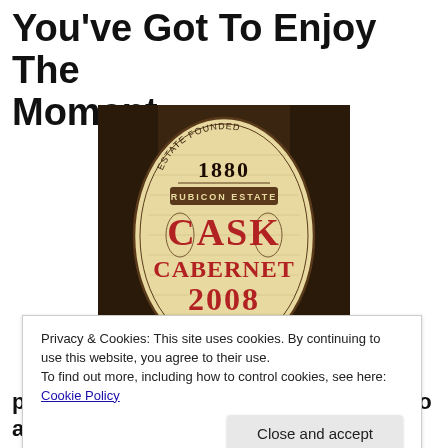You've Got To Enjoy The Moment . . .
[Figure (photo): Close-up photo of a wine bottle label for Rubicon Estate Cask Cabernet 2008 Rutherford, with 'Estate Founded 1880' at the top. The label is oval shaped with wood-grain texture and dark red lettering.]
Privacy & Cookies: This site uses cookies. By continuing to use this website, you agree to their use.
To find out more, including how to control cookies, see here: Cookie Policy
prepare for the upcoming week. It's also a time to